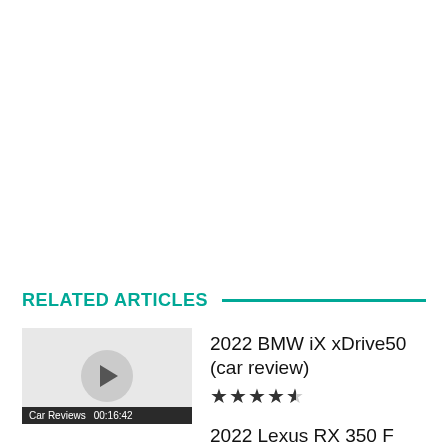RELATED ARTICLES
[Figure (screenshot): Thumbnail for 2022 BMW iX xDrive50 car review video with play button and label 'Car Reviews 00:16:42']
2022 BMW iX xDrive50 (car review) ★★★★½
2022 Lexus RX 350 F Sport (car